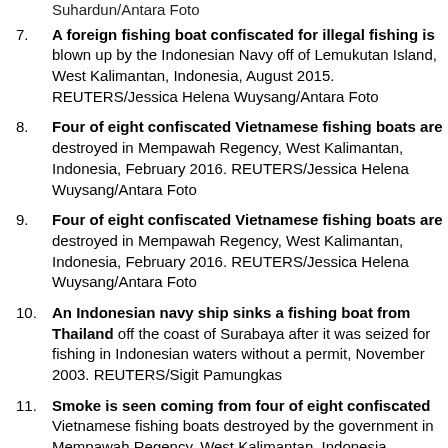Suhardun/Antara Foto
A foreign fishing boat confiscated for illegal fishing is blown up by the Indonesian Navy off of Lemukutan Island, West Kalimantan, Indonesia, August 2015. REUTERS/Jessica Helena Wuysang/Antara Foto
Four of eight confiscated Vietnamese fishing boats are destroyed in Mempawah Regency, West Kalimantan, Indonesia, February 2016. REUTERS/Jessica Helena Wuysang/Antara Foto
Four of eight confiscated Vietnamese fishing boats are destroyed in Mempawah Regency, West Kalimantan, Indonesia, February 2016. REUTERS/Jessica Helena Wuysang/Antara Foto
An Indonesian navy ship sinks a fishing boat from Thailand off the coast of Surabaya after it was seized for fishing in Indonesian waters without a permit, November 2003. REUTERS/Sigit Pamungkas
Smoke is seen coming from four of eight confiscated Vietnamese fishing boats destroyed by the government in Mempawah Regency, West Kalimantan, Indonesia, February 2016. REUTERS/Jessica Helena